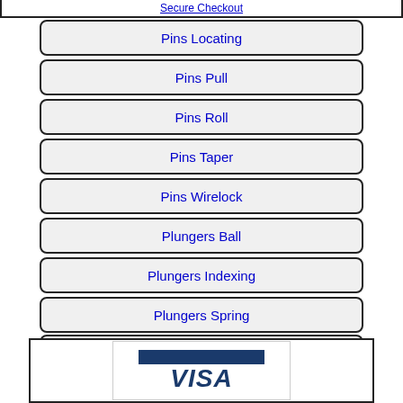Secure Checkout
Pins Locating
Pins Pull
Pins Roll
Pins Taper
Pins Wirelock
Plungers Ball
Plungers Indexing
Plungers Spring
Positioning
Pressure Rollers
[Figure (logo): Visa payment logo with dark blue banner bar above the VISA text in italic bold navy blue font]